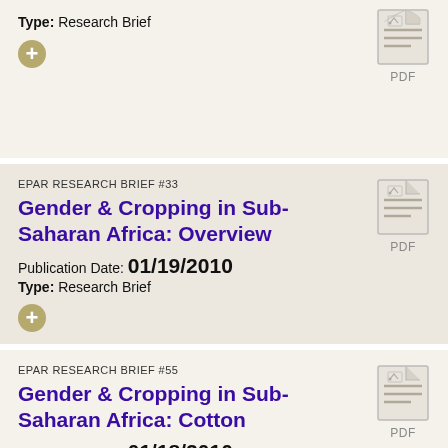Type: Research Brief
EPAR RESEARCH BRIEF #33
Gender & Cropping in Sub-Saharan Africa: Overview
Publication Date: 01/19/2010
Type: Research Brief
EPAR RESEARCH BRIEF #55
Gender & Cropping in Sub-Saharan Africa: Cotton
Publication Date: 01/18/2010
Type: Research Brief
EPAR RESEARCH BRIEF #58